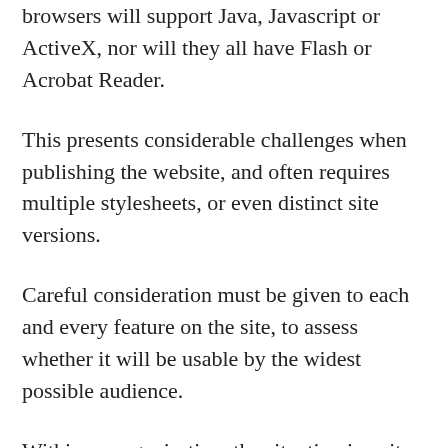browsers will support Java, Javascript or ActiveX, nor will they all have Flash or Acrobat Reader.
This presents considerable challenges when publishing the website, and often requires multiple stylesheets, or even distinct site versions.
Careful consideration must be given to each and every feature on the site, to assess whether it will be usable by the widest possible audience.
Within an organisation, the situation is quite different. An intranet is typically only accessed by a limited range of browsers, often installed as part of the desktop standard operating.